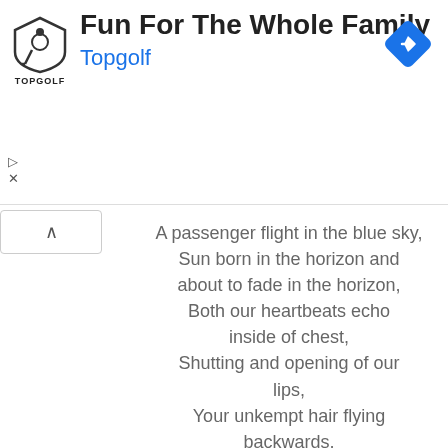[Figure (infographic): Topgolf advertisement banner with logo, title 'Fun For The Whole Family', brand name 'Topgolf', navigation icon, play and close controls]
A passenger flight in the blue sky,
Sun born in the horizon and about to fade in the horizon,
Both our heartbeats echo inside of chest,
Shutting and opening of our lips,
Your unkempt hair flying backwards,
Yellowish west sky.
Heart shaped fig leaf's shadow.
If I could stop this world from spinning,
I would do so,
Just to be with you,